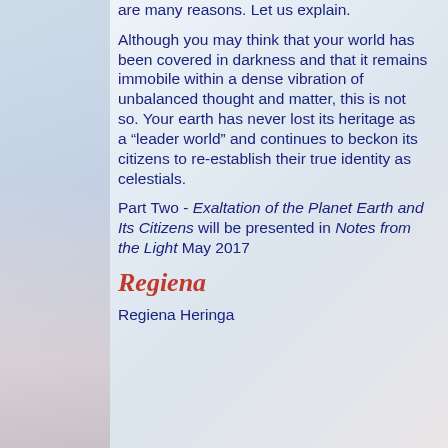are many reasons. Let us explain.
Although you may think that your world has been covered in darkness and that it remains immobile within a dense vibration of unbalanced thought and matter, this is not so. Your earth has never lost its heritage as a “leader world” and continues to beckon its citizens to re-establish their true identity as celestials.
Part Two - Exaltation of the Planet Earth and Its Citizens will be presented in Notes from the Light May 2017
Regiena
Regiena Heringa